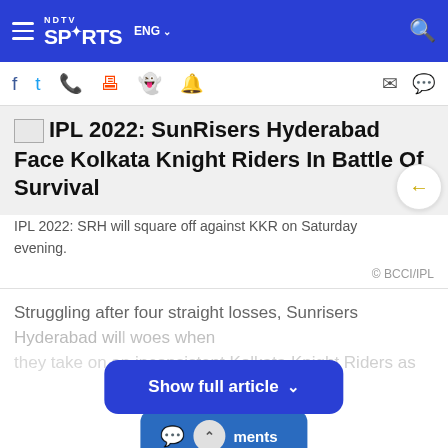NDTV Sports ENG
[Figure (screenshot): Social media share icons: Facebook, Twitter, WhatsApp, Reddit, Snapchat, and notification icons on right]
IPL 2022: SunRisers Hyderabad Face Kolkata Knight Riders In Battle Of Survival
IPL 2022: SRH will square off against KKR on Saturday evening.
© BCCI/IPL
Struggling after four straight losses, Sunrisers Hyderabad will [blurred] woes when they take on an inconsistent Kolkata Knight Riders as
[Figure (screenshot): Show full article button (blue rounded rectangle with chevron)]
[Figure (screenshot): Comments button (blue rounded rectangle with speech bubble icon and up arrow circle overlay)]